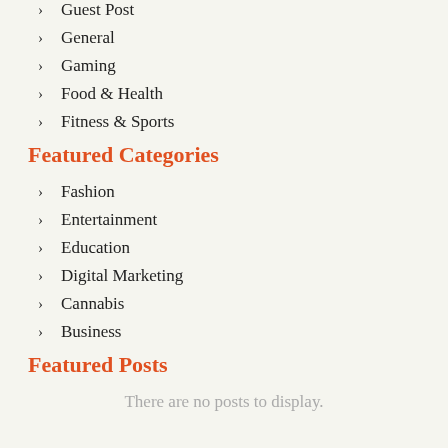Guest Post
General
Gaming
Food & Health
Fitness & Sports
Featured Categories
Fashion
Entertainment
Education
Digital Marketing
Cannabis
Business
Featured Posts
There are no posts to display.